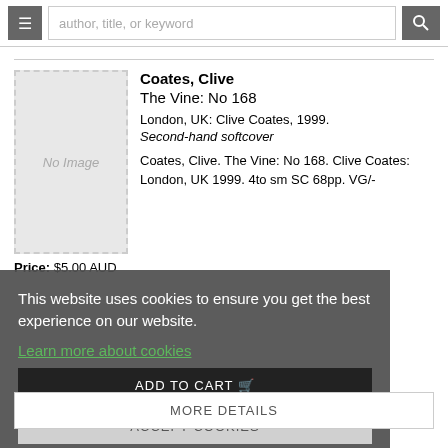author, title, or keyword
[Figure (other): No Image placeholder box for book cover]
Coates, Clive
The Vine: No 168
London, UK: Clive Coates, 1999.
Second-hand softcover
Coates, Clive. The Vine: No 168. Clive Coates: London, UK 1999. 4to sm SC 68pp. VG/-
Price: $5.00 AUD
This website uses cookies to ensure you get the best experience on our website.
Learn more about cookies
ADD TO CART
ACCEPT COOKIES